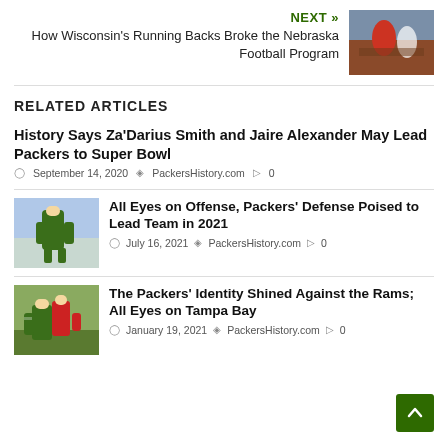NEXT » How Wisconsin's Running Backs Broke the Nebraska Football Program
RELATED ARTICLES
History Says Za'Darius Smith and Jaire Alexander May Lead Packers to Super Bowl
September 14, 2020  PackersHistory.com  0
[Figure (photo): Green Bay Packers player in uniform on field]
All Eyes on Offense, Packers' Defense Poised to Lead Team in 2021
July 16, 2021  PackersHistory.com  0
[Figure (photo): Packers players in game action]
The Packers' Identity Shined Against the Rams; All Eyes on Tampa Bay
January 19, 2021  PackersHistory.com  0